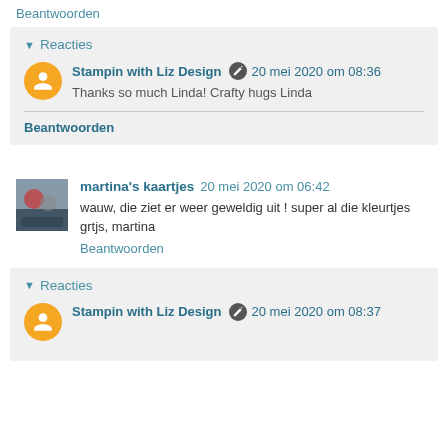Beantwoorden
Reacties
Stampin with Liz Design 20 mei 2020 om 08:36
Thanks so much Linda! Crafty hugs Linda
Beantwoorden
martina's kaartjes 20 mei 2020 om 06:42
wauw, die ziet er weer geweldig uit ! super al die kleurtjes grtjs, martina
Beantwoorden
Reacties
Stampin with Liz Design 20 mei 2020 om 08:37